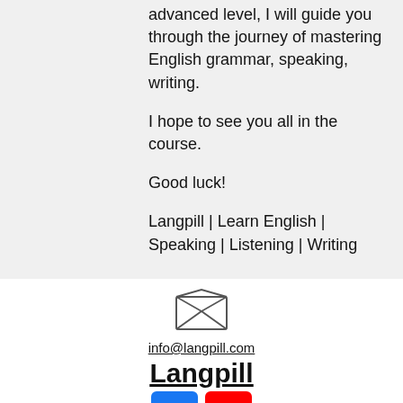advanced level, I will guide you through the journey of mastering English grammar, speaking, writing.
I hope to see you all in the course.
Good luck!
Langpill | Learn English | Speaking | Listening | Writing
[Figure (illustration): Open envelope icon (email symbol)]
info@langpill.com
Langpill
[Figure (logo): Facebook logo (blue square with white f) and YouTube logo (red square with white play button triangle)]